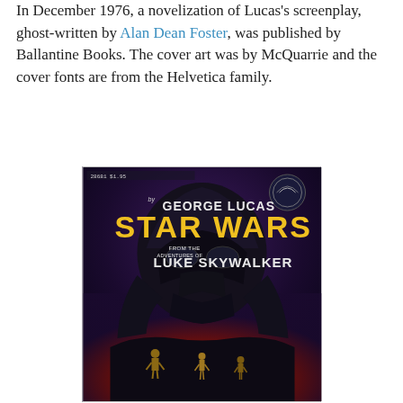In December 1976, a novelization of Lucas's screenplay, ghost-written by Alan Dean Foster, was published by Ballantine Books. The cover art was by McQuarrie and the cover fonts are from the Helvetica family.
[Figure (photo): Cover of the Star Wars novelization published by Ballantine Books. Shows text 'by GEORGE LUCAS' at top, then 'STAR WARS' in large yellow letters, then 'FROM THE ADVENTURES OF LUKE SKYWALKER'. The cover art features a large Darth Vader helmet dominating the upper portion against a dark purple/blue sky, with a red/orange background in the lower portion and small figures of characters at the bottom.]